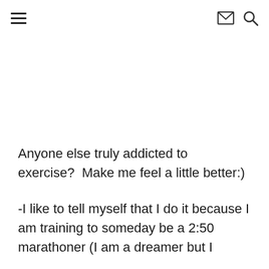≡  ✉ 🔍
Anyone else truly addicted to exercise?  Make me feel a little better:)
-I like to tell myself that I do it because I am training to someday be a 2:50 marathoner (I am a dreamer but I will do it someday....just give me a little time) but I